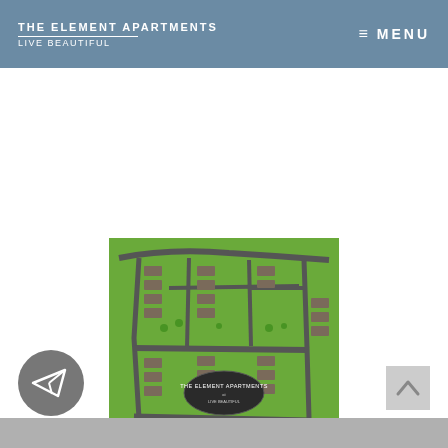THE ELEMENT APARTMENTS | Live Beautiful | MENU
[Figure (map): Apartment complex site map showing building layouts, roads, and landscaping. Shows 'The Element Apartments' logo in center with address: 1408 Homestead Rd, Durham NC 27705; 919-477-5277; contact@theelementapts.com; www.theelementapts.com]
1408 Homestead Rd, Durham NC 27705 | 919-477-5277 | contact@theelementapts.com | www.theelementapts.com
Click to view larger